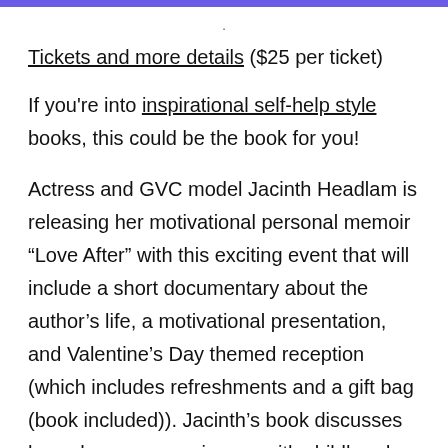.
Tickets and more details ($25 per ticket)
If you're into inspirational self-help style books, this could be the book for you!
Actress and GVC model Jacinth Headlam is releasing her motivational personal memoir “Love After” with this exciting event that will include a short documentary about the author’s life, a motivational presentation, and Valentine’s Day themed reception (which includes refreshments and a gift bag (book included)). Jacinth’s book discusses how she overcame issues with childhood